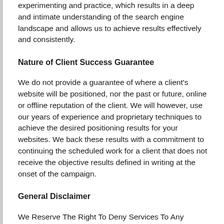experimenting and practice, which results in a deep and intimate understanding of the search engine landscape and allows us to achieve results effectively and consistently.
Nature of Client Success Guarantee
We do not provide a guarantee of where a client's website will be positioned, nor the past or future, online or offline reputation of the client. We will however, use our years of experience and proprietary techniques to achieve the desired positioning results for your websites. We back these results with a commitment to continuing the scheduled work for a client that does not receive the objective results defined in writing at the onset of the campaign.
General Disclaimer
We Reserve The Right To Deny Services To Any Individual Or Business.
Each of our packages are designed to deliver Internet search engine results changes. We make no claims of control over past or future actions of search engines, nor do